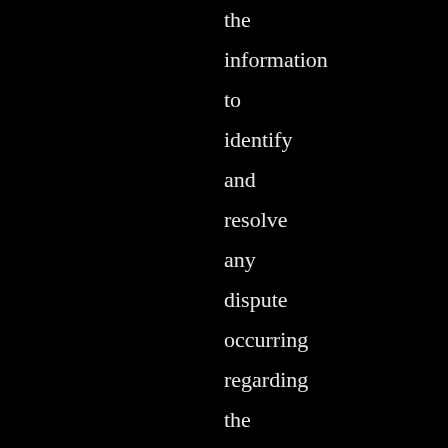the information to identify and resolve any dispute occurring regarding the usage of the platform. We may share your personal information in the following